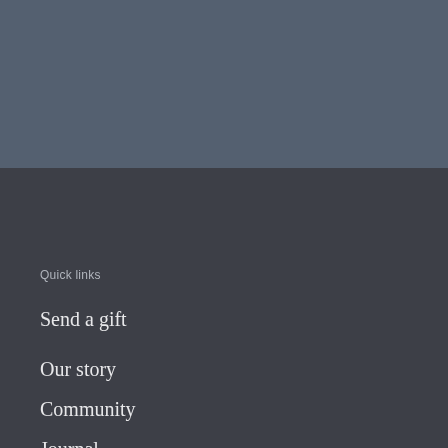[Figure (other): Dark blue-grey header/banner area at top of page]
Quick links
Send a gift
Our story
Community
Journal
Privacy Policy